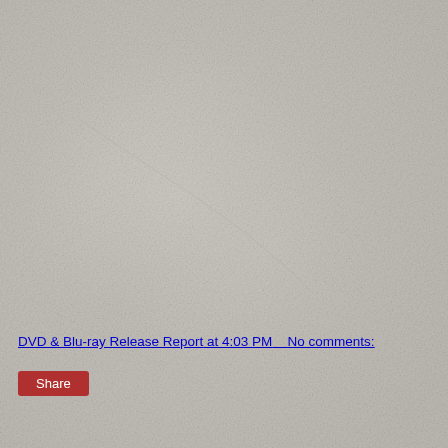[Figure (photo): Weathered stone or marble textured background with mottled grey and beige tones, slightly damp or worn surface.]
DVD & Blu-ray Release Report at 4:03 PM    No comments:
Share